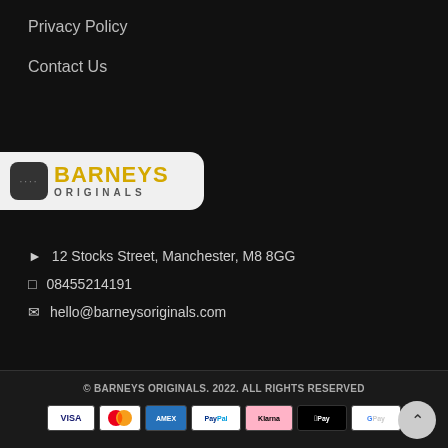Privacy Policy
Contact Us
[Figure (logo): Barneys Originals logo — white rounded box with 'BARNEYS' in gold bold text and 'ORIGINALS' in grey below]
12 Stocks Street, Manchester, M8 8GG
08455214191
hello@barneysoriginals.com
© BARNEYS ORIGINALS. 2022. ALL RIGHTS RESERVED
[Figure (other): Payment method icons: VISA, Mastercard, American Express, PayPal, Klarna, Apple Pay, Google Pay]